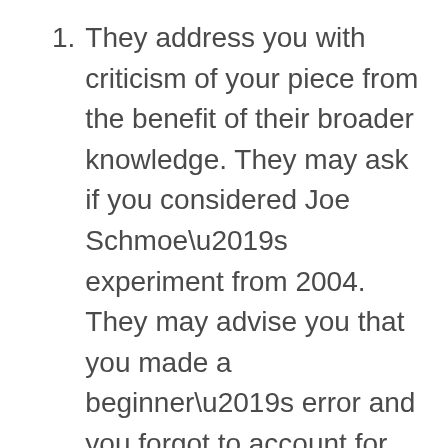They address you with criticism of your piece from the benefit of their broader knowledge. They may ask if you considered Joe Schmoe’s experiment from 2004. They may advise you that you made a beginner’s error and you forgot to account for the “Verporeg Effect.” They may tell you that you really need to start over because of the discrepancy between the metrics being used in the different studies. Make no